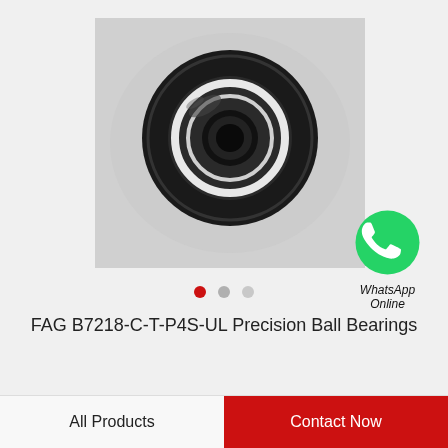[Figure (photo): Top-down view of a FAG precision ball bearing with black outer ring and visible inner ring/bore against a light gray background]
[Figure (logo): WhatsApp green circular icon with phone handset, labeled WhatsApp Online]
FAG B7218-C-T-P4S-UL Precision Ball Bearings
All Products
Contact Now